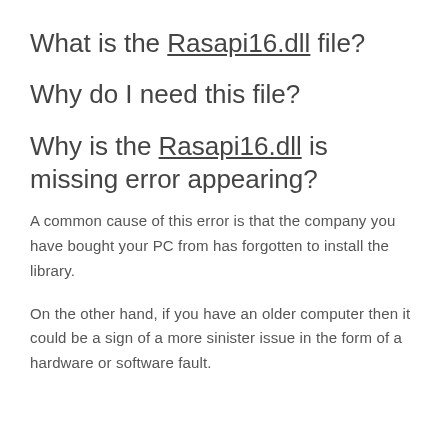What is the Rasapi16.dll file?
Why do I need this file?
Why is the Rasapi16.dll is missing error appearing?
A common cause of this error is that the company you have bought your PC from has forgotten to install the library.
On the other hand, if you have an older computer then it could be a sign of a more sinister issue in the form of a hardware or software fault.